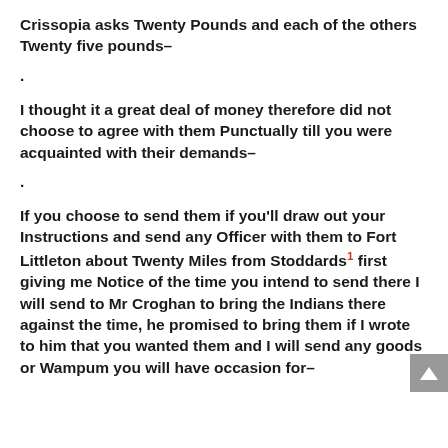Crissopia asks Twenty Pounds and each of the others Twenty five pounds–
.
I thought it a great deal of money therefore did not choose to agree with them Punctually till you were acquainted with their demands–
.
If you choose to send them if you'll draw out your Instructions and send any Officer with them to Fort Littleton about Twenty Miles from Stoddards1 first giving me Notice of the time you intend to send there I will send to Mr Croghan to bring the Indians there against the time, he promised to bring them if I wrote to him that you wanted them and I will send any goods or Wampum you will have occasion for–